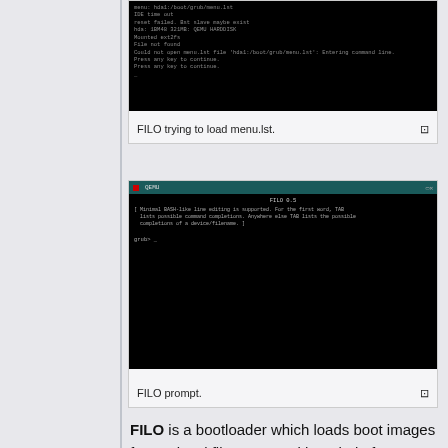[Figure (screenshot): QEMU terminal window showing FILO trying to load menu.lst, with IDE time out and error messages on a black background.]
FILO trying to load menu.lst.
[Figure (screenshot): QEMU terminal window showing FILO 0.5 prompt with minimal BASH-like line editing message and grub> prompt.]
FILO prompt.
FILO is a bootloader which loads boot images from a local filesystem, without help from legacy BIOS services.